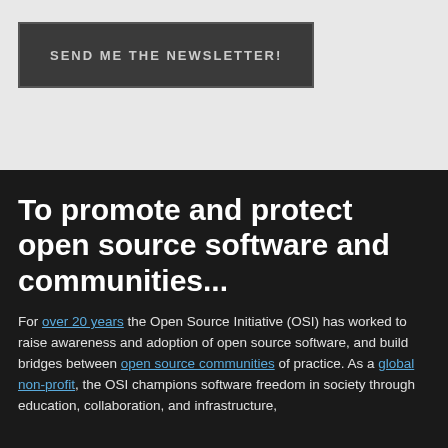SEND ME THE NEWSLETTER!
To promote and protect open source software and communities...
For over 20 years the Open Source Initiative (OSI) has worked to raise awareness and adoption of open source software, and build bridges between open source communities of practice. As a global non-profit, the OSI champions software freedom in society through education, collaboration, and infrastructure,